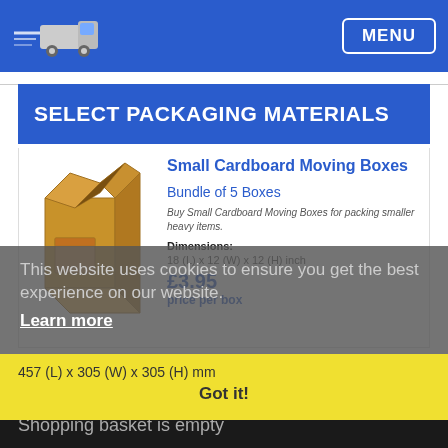MENU
SELECT PACKAGING MATERIALS
Small Cardboard Moving Boxes
Bundle of 5 Boxes
Buy Small Cardboard Moving Boxes for packing smaller heavy items.
Dimensions:
18 (L) x 12 (W) x 12 (H) inch
£3.95
price per box
This website uses cookies to ensure you get the best experience on our website.
Learn more
457 (L) x 305 (W) x 305 (H) mm
Got it!
Shopping basket is empty